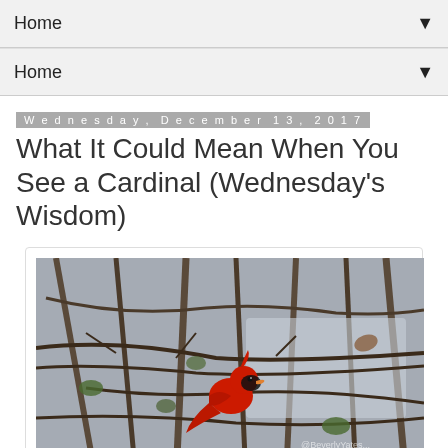Home ▼
Home ▼
Wednesday, December 13, 2017
What It Could Mean When You See a Cardinal (Wednesday's Wisdom)
[Figure (photo): A bright red male cardinal perched among bare winter tree branches with some green leaves visible, taken outdoors in natural light. Watermark visible in lower right.]
MALE CARDINALS ARE FEATURED IN MY BOOKS
[Figure (photo): Second photo, partially visible at bottom of page, showing bare winter tree branches similar to the first image.]